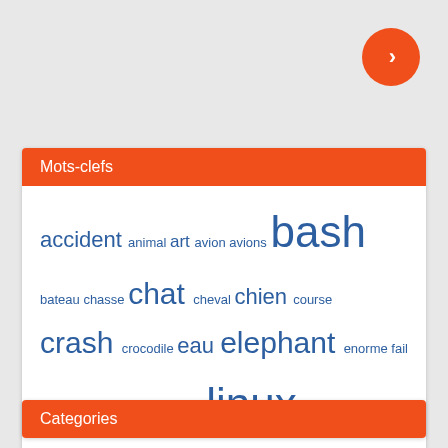[Figure (other): Orange circular button with right arrow chevron, positioned top-right]
Mots-clefs
accident animal art avion avions bash bateau chasse chat cheval chien course crash crocodile eau elephant enorme fail glace grafana influxdb japon linux lion mer moto neige oiseau orangePI Orange pi ours peche poisson pont requin saut sbc script serpent slow-mo slowmo ssh temperature vague voiture
Categories